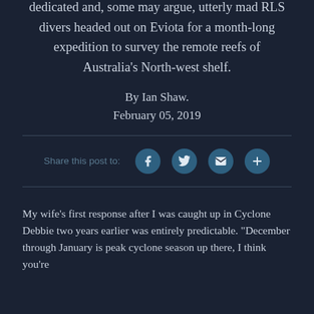dedicated and, some may argue, utterly mad RLS divers headed out on Eviota for a month-long expedition to survey the remote reefs of Australia's North-west shelf.
By Ian Shaw.
February 05, 2019
Share this post to:
My wife’s first response after I was caught up in Cyclone Debbie two years earlier was entirely predictable. “December through January is peak cyclone season up there, I think you’re